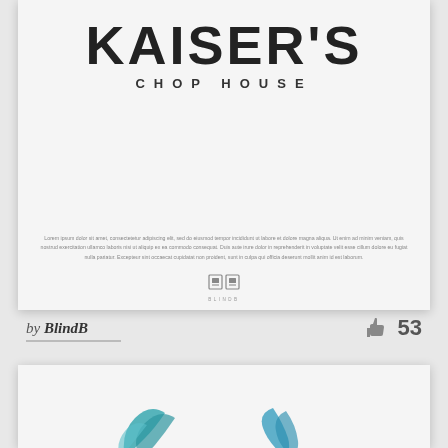[Figure (logo): Kaiser's Chop House logo — large bold display text 'KAISER'S' with cutout styling, subtitle 'CHOP HOUSE' in spaced caps, on light grey card with lorem ipsum text and BlindB watermark icon at bottom]
by BlindB
53
[Figure (illustration): Partial view of second design card showing blue/teal swoosh logo elements at bottom of page, cut off]